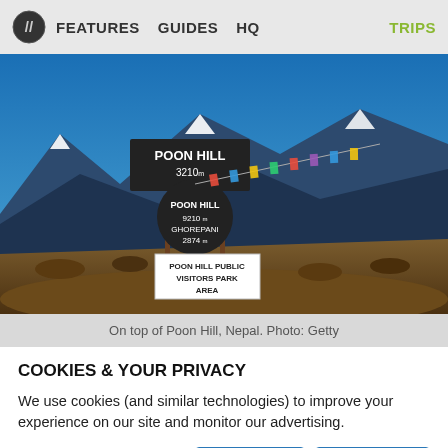FEATURES   GUIDES   HQ   TRIPS
[Figure (photo): Mountain landscape at Poon Hill, Nepal. Signs visible: 'POON HILL 3210m', 'POON HILL 9210m GHOREPANI 2874m', 'POON HILL PUBLIC VISITORS PARK AREA'. Colorful prayer flags and snow-capped mountains in background.]
On top of Poon Hill, Nepal. Photo: Getty
COOKIES & YOUR PRIVACY
We use cookies (and similar technologies) to improve your experience on our site and monitor our advertising.
Manage   Reject All   Accept All